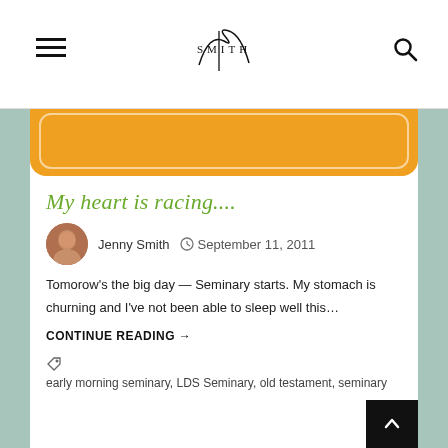J Smith (logo)
[Figure (illustration): Orange rounded rectangle banner/button at top of blog post card]
My heart is racing....
Jenny Smith   September 11, 2011
Tomorow's the big day — Seminary starts. My stomach is churning and I've not been able to sleep well this…
CONTINUE READING →
early morning seminary, LDS Seminary, old testament, seminary